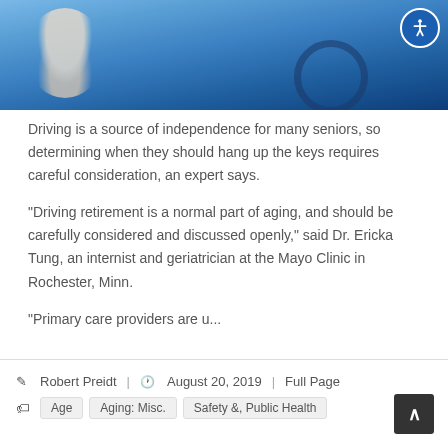[Figure (photo): Elderly man with gray hair and glasses driving a car, smiling, wearing a light blue shirt, with blue steering wheel visible. Accessibility icon (person in circle) overlaid in top-right corner of image.]
Driving is a source of independence for many seniors, so determining when they should hang up the keys requires careful consideration, an expert says.
"Driving retirement is a normal part of aging, and should be carefully considered and discussed openly," said Dr. Ericka Tung, an internist and geriatrician at the Mayo Clinic in Rochester, Minn.
"Primary care providers are u...
Robert Preidt | August 20, 2019 | Full Page  Age  Aging: Misc.  Safety &, Public Health